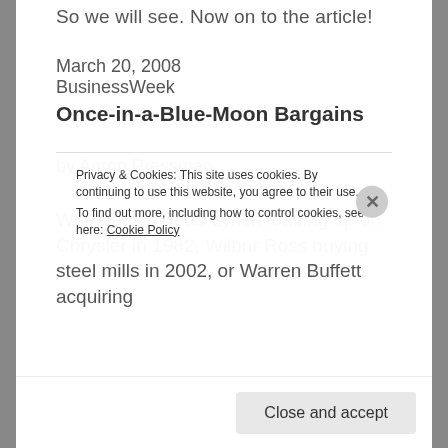So we will see. Now on to the article!
March 20, 2008
BusinessWeek
Once-in-a-Blue-Moon Bargains
by Aaron Pressman
Whether it's Peter Lynch loading up on Chrysler in 1982, Wilbur Ross buying steel mills in 2002, or Warren Buffett acquiring…
Privacy & Cookies: This site uses cookies. By continuing to use this website, you agree to their use.
To find out more, including how to control cookies, see here: Cookie Policy
Close and accept